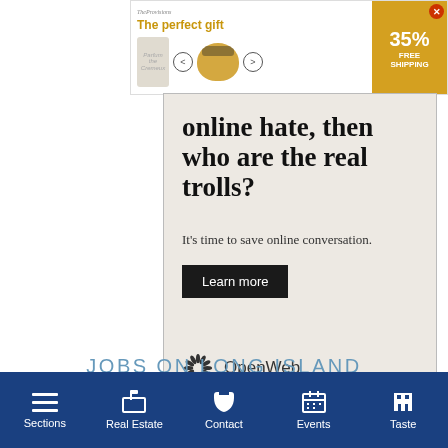[Figure (screenshot): Top banner advertisement for The Provisions showing 'The perfect gift' text in gold, a ceramic crock pot image, navigation arrows, and a 35% FREE SHIPPING badge with close button]
[Figure (screenshot): OpenWeb advertisement on beige/tan background. Large heading text 'online hate, then who are the real trolls?' with subtext 'It's time to save online conversation.' A dark Learn more button and OpenWeb logo with sunburst icon.]
AdChoices
Sponsored
JOBS ON LONG ISLAND
[Figure (screenshot): Dark blue banner strip for jobs section]
Sections | Real Estate | Contact | Events | Taste